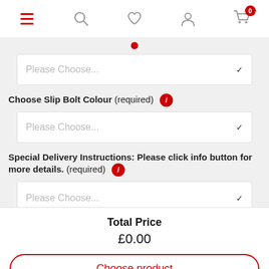[Figure (screenshot): Mobile app top navigation bar with hamburger menu (red), search icon, heart/wishlist icon, user/account icon, and shopping cart icon with red badge showing 0]
Please Choose...
Choose Slip Bolt Colour (required)
Please Choose...
Special Delivery Instructions: Please click info button for more details. (required)
Please Choose...
Total Price
£0.00
Choose product